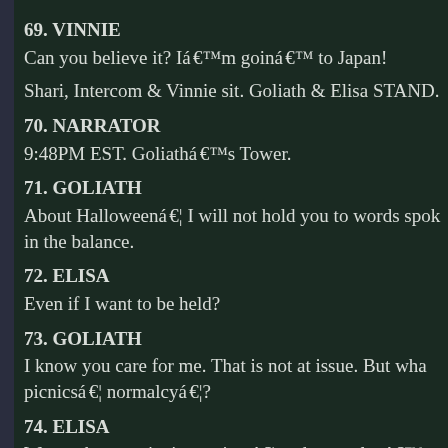69. VINNIE
Can you believe it? Iâ€™m goinâ€™ to Japan!
Shari, Intercom & Vinnie sit. Goliath & Elisa STAND.
70. NARRATOR
9:48PM EST. Goliathâ€™s Tower.
71. GOLIATH
About Halloweenâ€¦ I will not hold you to words spok in the balance.
72. ELISA
Even if I want to be held?
73. GOLIATH
I know you care for me. That is not at issue. But wha picnicsâ€¦ normalcyâ€¦?
74. ELISA
We can have a picnic anytimeâ€¦ and normalcyâ€™s
75. NARRATOR
She runs her fingers through his hair. He takes her ir